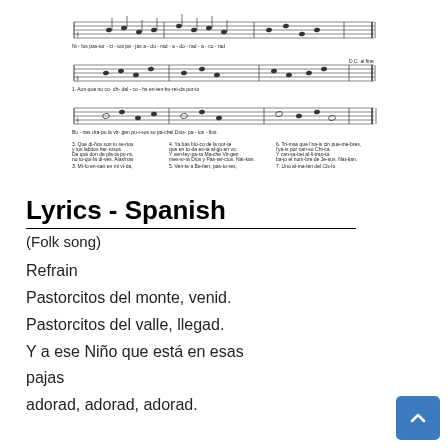[Figure (illustration): Sheet music score showing three staves of musical notation for a Spanish folk song (Pastorcitos), with lyrics under the notes and additional verses printed below the staves in small text.]
Lyrics - Spanish
(Folk song)
Refrain
Pastorcitos del monte, venid.
Pastorcitos del valle, llegad.
Y a ese Niño que está en esas pajas
adorad, adorad, adorad.